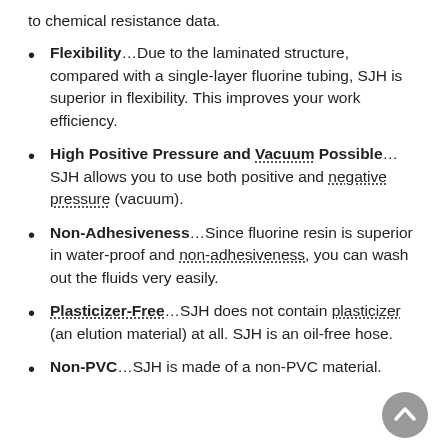to chemical resistance data.
Flexibility…Due to the laminated structure, compared with a single-layer fluorine tubing, SJH is superior in flexibility. This improves your work efficiency.
High Positive Pressure and Vacuum Possible…SJH allows you to use both positive and negative pressure (vacuum).
Non-Adhesiveness…Since fluorine resin is superior in water-proof and non-adhesiveness, you can wash out the fluids very easily.
Plasticizer-Free…SJH does not contain plasticizer (an elution material) at all. SJH is an oil-free hose.
Non-PVC…SJH is made of a non-PVC material.